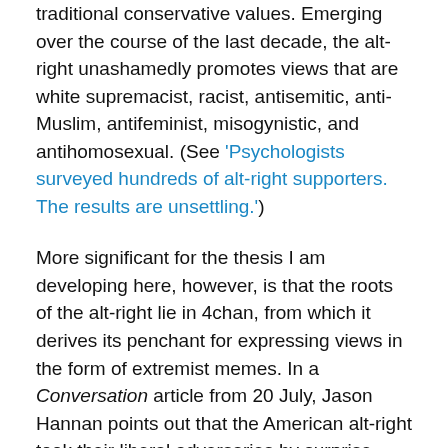traditional conservative values. Emerging over the course of the last decade, the alt-right unashamedly promotes views that are white supremacist, racist, antisemitic, anti-Muslim, antifeminist, misogynistic, and antihomosexual. (See 'Psychologists surveyed hundreds of alt-right supporters. The results are unsettling.')
More significant for the thesis I am developing here, however, is that the roots of the alt-right lie in 4chan, from which it derives its penchant for expressing views in the form of extremist memes. In a Conversation article from 20 July, Jason Hannan points out that the American alt-right took their liberal adversaries by surprise, when the latter, particularly under the tech-savvy President Obama, had
arrogantly assumed that the future belonged to them —